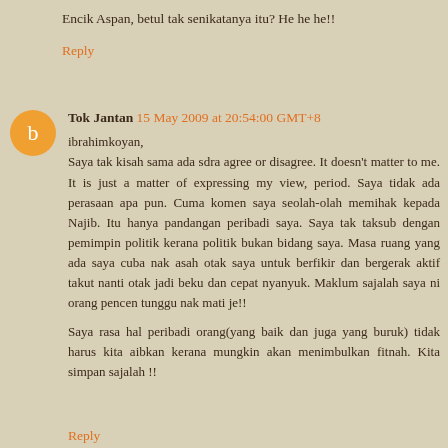Encik Aspan, betul tak senikatanya itu? He he he!!
Reply
Tok Jantan 15 May 2009 at 20:54:00 GMT+8
ibrahimkoyan,
Saya tak kisah sama ada sdra agree or disagree. It doesn't matter to me. It is just a matter of expressing my view, period. Saya tidak ada perasaan apa pun. Cuma komen saya seolah-olah memihak kepada Najib. Itu hanya pandangan peribadi saya. Saya tak taksub dengan pemimpin politik kerana politik bukan bidang saya. Masa ruang yang ada saya cuba nak asah otak saya untuk berfikir dan bergerak aktif takut nanti otak jadi beku dan cepat nyanyuk. Maklum sajalah saya ni orang pencen tunggu nak mati je!!

Saya rasa hal peribadi orang(yang baik dan juga yang buruk) tidak harus kita aibkan kerana mungkin akan menimbulkan fitnah. Kita simpan sajalah !!
Reply